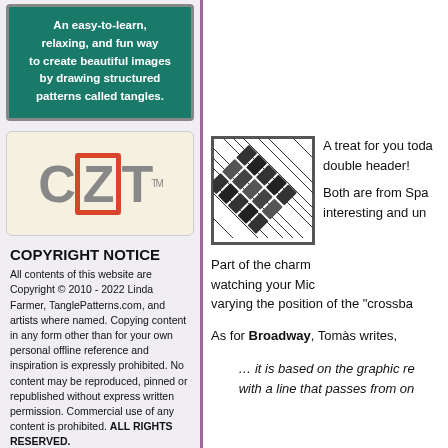[Figure (infographic): Green banner: An easy-to-learn, relaxing, and fun way to create beautiful images by drawing structured patterns called tangles.]
[Figure (logo): CZT logo with red outlined box around Z, on cream background]
COPYRIGHT NOTICE
All contents of this website are Copyright © 2010 - 2022 Linda Farmer, TanglePatterns.com, and artists where named. Copying content in any form other than for your own personal offline reference and inspiration is expressly prohibited. No content may be reproduced, pinned or republished without express written permission. Commercial use of any content is prohibited. ALL RIGHTS RESERVED.
[Figure (photo): Artists For RESPECT image with dark brown background]
[Figure (illustration): Black and white tangle pattern drawing showing diagonal crosshatch/brick pattern]
A treat for you toda double header!
Both are from Spa interesting and un
Part of the charm watching your Mic varying the position of the “crossba
As for Broadway, Tomàs writes,
… it is based on the graphic re with a line that passes from on